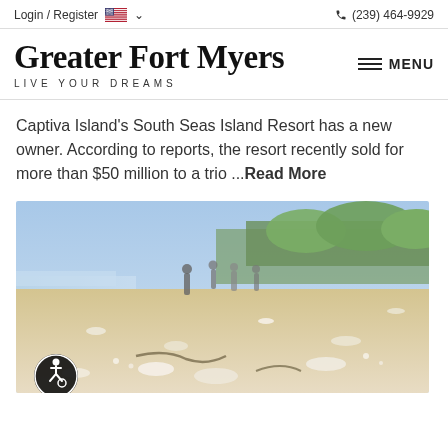Login / Register  🇺🇸 ▾    📞 (239) 464-9929
Greater Fort Myers
LIVE YOUR DREAMS
Captiva Island's South Seas Island Resort has a new owner. According to reports, the resort recently sold for more than $50 million to a trio ...Read More
[Figure (photo): Close-up ground-level beach photo showing shells and seaweed in the foreground, with people standing on a sandy beach and lush green trees in the background under a clear blue sky. An accessibility icon button is visible in the lower-left corner.]